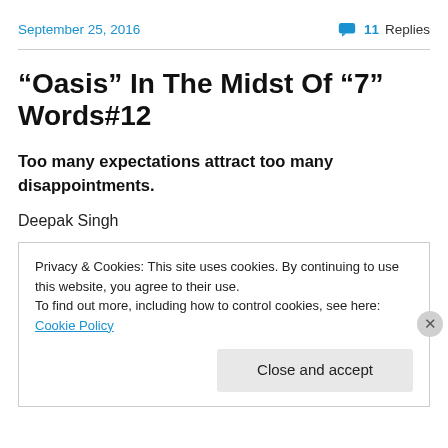September 25, 2016   11 Replies
“Oasis” In The Midst Of “7” Words#12
Too many expectations attract too many disappointments.
Deepak Singh
Privacy & Cookies: This site uses cookies. By continuing to use this website, you agree to their use.
To find out more, including how to control cookies, see here: Cookie Policy
Close and accept